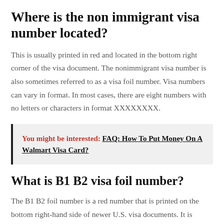Where is the non immigrant visa number located?
This is usually printed in red and located in the bottom right corner of the visa document. The nonimmigrant visa number is also sometimes referred to as a visa foil number. Visa numbers can vary in format. In most cases, there are eight numbers with no letters or characters in format XXXXXXXX.
You might be interested: FAQ: How To Put Money On A Walmart Visa Card?
What is B1 B2 visa foil number?
The B1 B2 foil number is a red number that is printed on the bottom right-hand side of newer U.S. visa documents. It is necessary to provide the 8-digit foil number of the traveler's valid